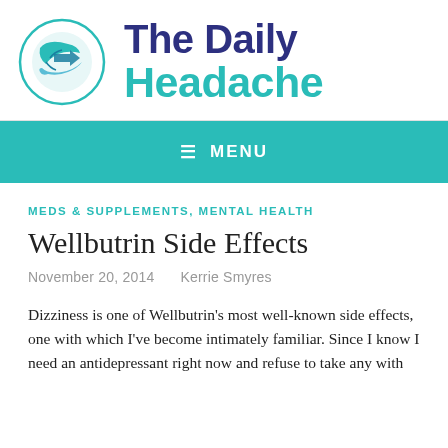[Figure (logo): The Daily Headache logo: circular icon with stylized blue hands gesture, teal and dark blue colors, beside site name text]
The Daily Headache
≡ MENU
MEDS & SUPPLEMENTS, MENTAL HEALTH
Wellbutrin Side Effects
November 20, 2014   Kerrie Smyres
Dizziness is one of Wellbutrin's most well-known side effects, one with which I've become intimately familiar. Since I know I need an antidepressant right now and refuse to take any with